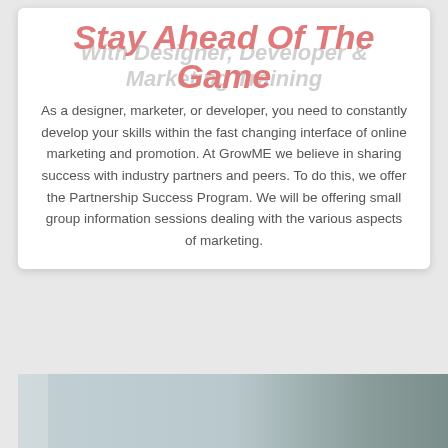Stay Ahead Of The Game
With Designer, Developer & Marketing Training
As a designer, marketer, or developer, you need to constantly develop your skills within the fast changing interface of online marketing and promotion. At GrowME we believe in sharing success with industry partners and peers. To do this, we offer the Partnership Success Program. We will be offering small group information sessions dealing with the various aspects of marketing.
[Figure (photo): Partial view of a muted blue-grey photo at the bottom of the page]